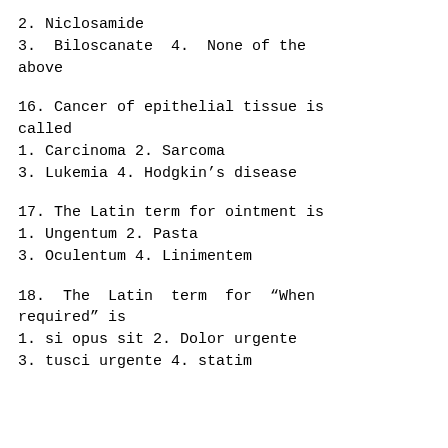2. Niclosamide
3.  Biloscanate  4.  None of the above
16. Cancer of epithelial tissue is called
1. Carcinoma 2. Sarcoma
3. Lukemia 4. Hodgkin’s disease
17. The Latin term for ointment is
1. Ungentum 2. Pasta
3. Oculentum 4. Linimentem
18.  The  Latin  term  for  “When required” is
1. si opus sit 2. Dolor urgente
3. tusci urgente 4. statim